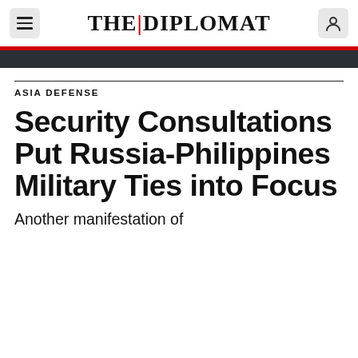THE DIPLOMAT
ASIA DEFENSE
Security Consultations Put Russia-Philippines Military Ties into Focus
Another manifestation of...